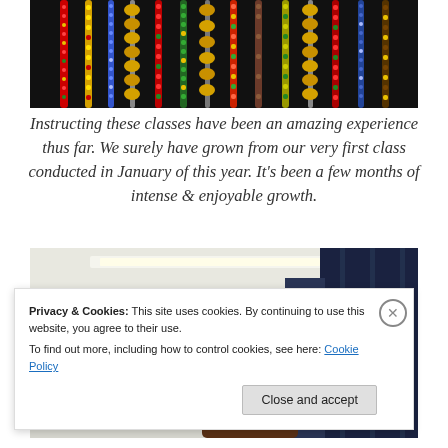[Figure (photo): Colorful beaded necklaces and jewelry hanging against a dark background, featuring red, yellow, green, blue, and gold beads.]
Instructing these classes have been an amazing experience thus far. We surely have grown from our very first class conducted in January of this year. It’s been a few months of intense & enjoyable growth.
[Figure (photo): A person with curly dark red hair seen from behind in what appears to be a classroom or studio setting, with white walls and dark curtains.]
Privacy & Cookies: This site uses cookies. By continuing to use this website, you agree to their use.
To find out more, including how to control cookies, see here: Cookie Policy
Close and accept